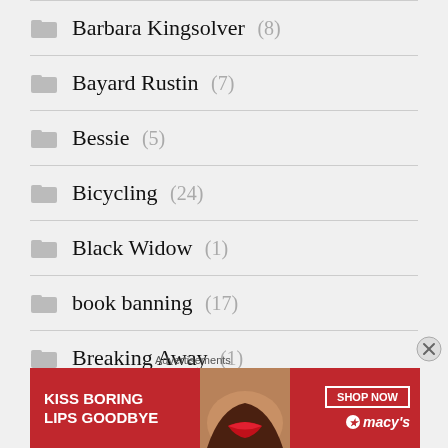Barbara Kingsolver (8)
Bayard Rustin (7)
Bessie (5)
Bicycling (24)
Black Widow (1)
book banning (17)
Breaking Away (1)
Brill (1)
[Figure (screenshot): Macy's advertisement banner: 'KISS BORING LIPS GOODBYE' with SHOP NOW button and Macy's logo]